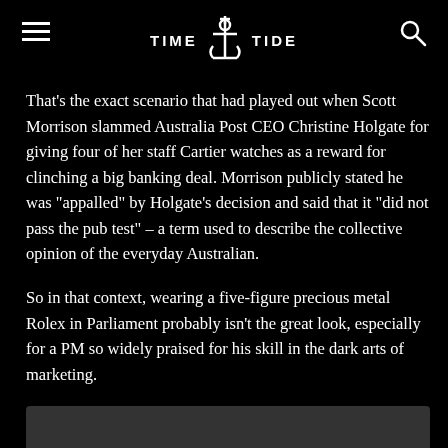TIME TIDE
That’s the exact scenario that had played out when Scott Morrison slammed Australia Post CEO Christine Holgate for giving four of her staff Cartier watches as a reward for clinching a big banking deal. Morrison publicly stated he was “appalled” by Holgate’s decision and said that it “did not pass the pub test” – a term used to describe the collective opinion of the everyday Australian.
So in that context, wearing a five-figure precious metal Rolex in Parliament probably isn’t the great look, especially for a PM so widely praised for his skill in the dark arts of marketing.